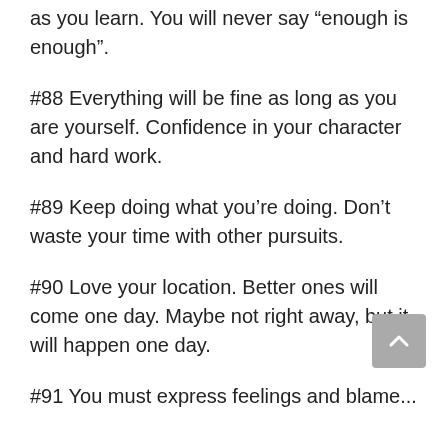as you learn. You will never say “enough is enough”.
#88 Everything will be fine as long as you are yourself. Confidence in your character and hard work.
#89 Keep doing what you’re doing. Don’t waste your time with other pursuits.
#90 Love your location. Better ones will come one day. Maybe not right away, but it will happen one day.
#91 You must express feelings and blame...